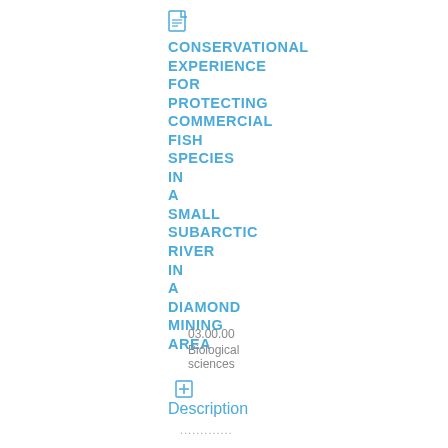CONSERVATIONAL EXPERIENCE FOR PROTECTING COMMERCIAL FISH SPECIES IN A SMALL SUBARCTIC RIVER IN A DIAMOND MINING AREA
03.00.00
Biological sciences
[Figure (other): Expand/collapse icon (plus sign in a square box)]
Description
.............